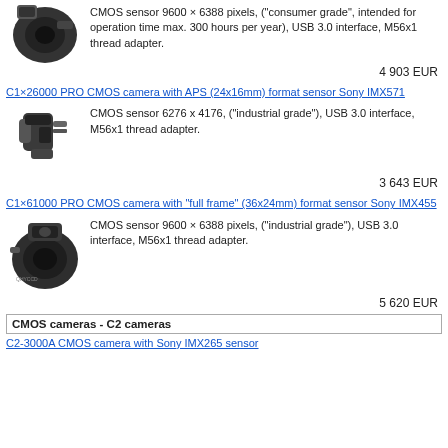[Figure (photo): Black round camera product photo (top, partially cropped)]
CMOS sensor 9600 × 6388 pixels, ("consumer grade", intended for operation time max. 300 hours per year), USB 3.0 interface, M56x1 thread adapter.
4 903 EUR
C1×26000 PRO CMOS camera with APS (24x16mm) format sensor Sony IMX571
[Figure (photo): Black C-mount style camera product photo]
CMOS sensor 6276 x 4176, ("industrial grade"), USB 3.0 interface, M56x1 thread adapter.
3 643 EUR
C1×61000 PRO CMOS camera with "full frame" (36x24mm) format sensor Sony IMX455
[Figure (photo): Black round camera product photo with lens mount]
CMOS sensor 9600 × 6388 pixels, ("industrial grade"), USB 3.0 interface, M56x1 thread adapter.
5 620 EUR
CMOS cameras - C2 cameras
C2-3000A CMOS camera with Sony IMX265 sensor